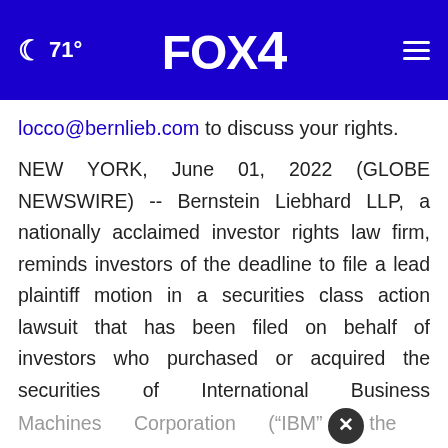🌙 71° FOX 4 ≡
locco@bernlieb.com to discuss your rights.
NEW YORK, June 01, 2022 (GLOBE NEWSWIRE) -- Bernstein Liebhard LLP, a nationally acclaimed investor rights law firm, reminds investors of the deadline to file a lead plaintiff motion in a securities class action lawsuit that has been filed on behalf of investors who purchased or acquired the securities of International Business Machines Corporation ("IBM" [×] the "Company") (NYSE: IBM) between April 4, 2017 and October 20, 2021, inclusive (the "Cl...